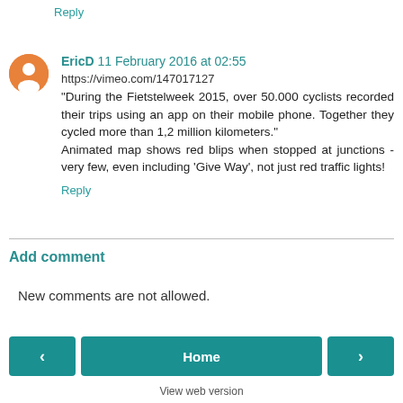Reply
EricD  11 February 2016 at 02:55
https://vimeo.com/147017127
"During the Fietstelweek 2015, over 50.000 cyclists recorded their trips using an app on their mobile phone. Together they cycled more than 1,2 million kilometers." Animated map shows red blips when stopped at junctions - very few, even including 'Give Way', not just red traffic lights!
Reply
Add comment
New comments are not allowed.
Home
View web version